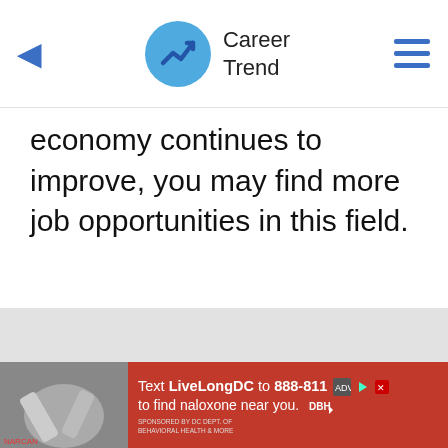Career Trend
economy continues to improve, you may find more job opportunities in this field.
[Figure (photo): Advertisement banner: red background with image of hands holding syringes, text 'Text LiveLongDC to 888-811 to find naloxone near you.' with DBH logo.]